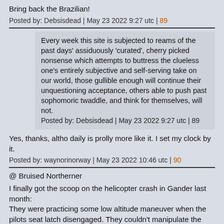Bring back the Brazilian!
Posted by: Debsisdead | May 23 2022 9:27 utc | 89
Every week this site is subjected to reams of the past days' assiduously 'curated', cherry picked nonsense which attempts to buttress the clueless one's entirely subjective and self-serving take on our world, those gullible enough will continue their unquestioning acceptance, others able to push past sophomoric twaddle, and think for themselves, will not.
Posted by: Debsisdead | May 23 2022 9:27 utc | 89
Yes, thanks, altho daily is prolly more like it. I set my clock by it.
Posted by: waynorinorway | May 23 2022 10:46 utc | 90
@ Bruised Northerner
I finally got the scoop on the helicopter crash in Gander last month:
They were practicing some low altitude maneuver when the pilots seat latch disengaged. They couldn't manipulate the pedals a crucial time and shit happened.
I got this from a pregnant woman at a bar so it has to be true lol